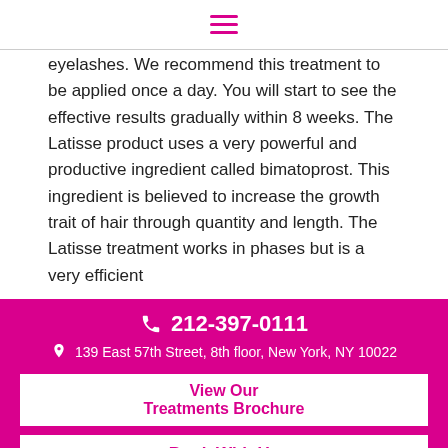☰
eyelashes. We recommend this treatment to be applied once a day. You will start to see the effective results gradually within 8 weeks. The Latisse product uses a very powerful and productive ingredient called bimatoprost. This ingredient is believed to increase the growth trait of hair through quantity and length. The Latisse treatment works in phases but is a very efficient
212-397-0111 | 139 East 57th Street, 8th floor, New York, NY 10022 | View Our Treatments Brochure | Book With Us